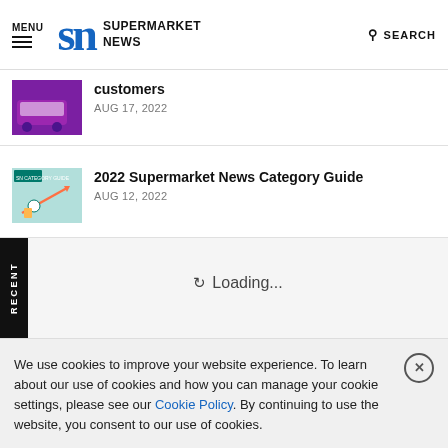MENU | SN SUPERMARKET NEWS | SEARCH
customers
AUG 17, 2022
2022 Supermarket News Category Guide
AUG 12, 2022
Loading...
RECENT
We use cookies to improve your website experience. To learn about our use of cookies and how you can manage your cookie settings, please see our Cookie Policy. By continuing to use the website, you consent to our use of cookies.